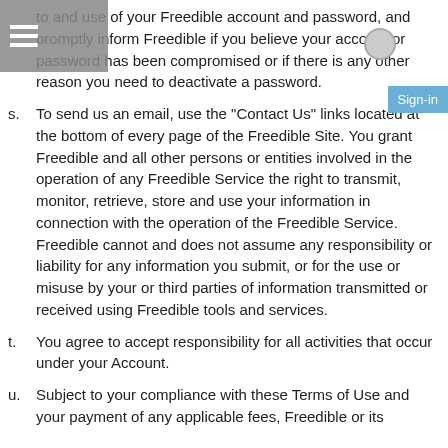to and use of your Freedible account and password, and promptly inform Freedible if you believe your account or password has been compromised or if there is any other reason you need to deactivate a password.
s. To send us an email, use the 'Contact Us' links located at the bottom of every page of the Freedible Site. You grant Freedible and all other persons or entities involved in the operation of any Freedible Service the right to transmit, monitor, retrieve, store and use your information in connection with the operation of the Freedible Service. Freedible cannot and does not assume any responsibility or liability for any information you submit, or for the use or misuse by your or third parties of information transmitted or received using Freedible tools and services.
t. You agree to accept responsibility for all activities that occur under your Account.
u. Subject to your compliance with these Terms of Use and your payment of any applicable fees, Freedible or its